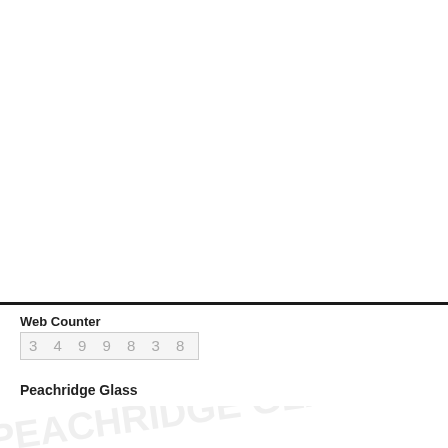Web Counter
3499838
Peachridge Glass